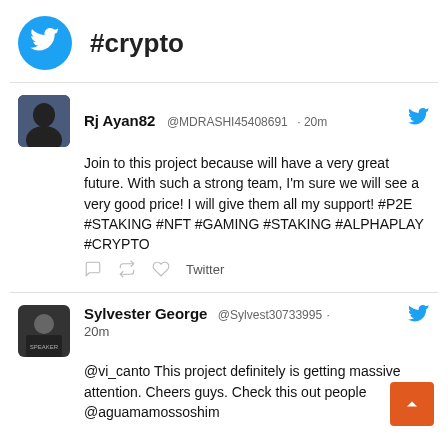#crypto
Rj Ayan82 @MDRASHI45408691 · 20m
Join to this project because will have a very great future. With such a strong team, I'm sure we will see a very good price! I will give them all my support! #P2E #STAKING #NFT #GAMING #STAKING #ALPHAPLAY #CRYPTO
Sylvester George @Sylvest30733995 · 20m
@vi_canto This project definitely is getting massive attention. Cheers guys. Check this out people @aguamamossoshim